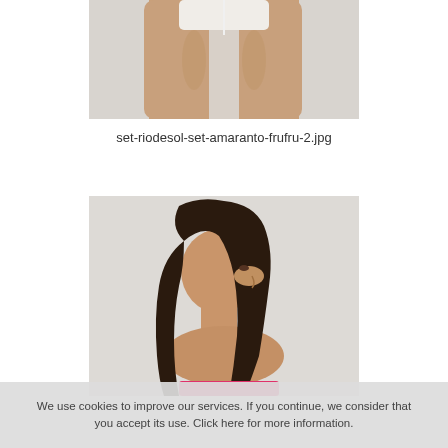[Figure (photo): Close-up photo of a person's lower torso and upper thighs wearing a white bikini bottom, against a light grey background.]
set-riodesol-set-amaranto-frufru-2.jpg
[Figure (photo): Side profile photo of a young woman with long dark hair, wearing a pink top, against a light grey background.]
We use cookies to improve our services. If you continue, we consider that you accept its use. Click here for more information.